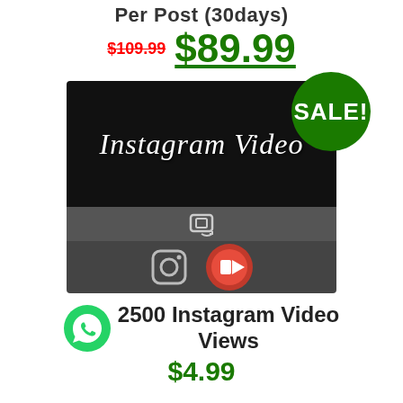Per Post (30days)
$109.99  $89.99
[Figure (screenshot): Instagram Video app screenshot showing the Instagram Video logo text on dark background, a camera/rotate icon in grey bar, and camera + red record button icons at bottom. A green SALE! badge overlays the top right.]
2500 Instagram Video Views
$4.99